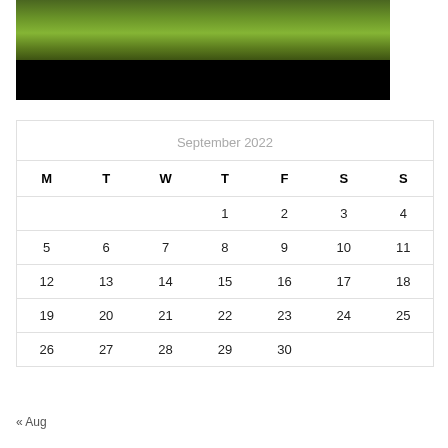[Figure (photo): Partial photo showing green grass landscape with dark blurry background at top, and a black bar below it]
| M | T | W | T | F | S | S |
| --- | --- | --- | --- | --- | --- | --- |
|  |  |  | 1 | 2 | 3 | 4 |
| 5 | 6 | 7 | 8 | 9 | 10 | 11 |
| 12 | 13 | 14 | 15 | 16 | 17 | 18 |
| 19 | 20 | 21 | 22 | 23 | 24 | 25 |
| 26 | 27 | 28 | 29 | 30 |  |  |
« Aug